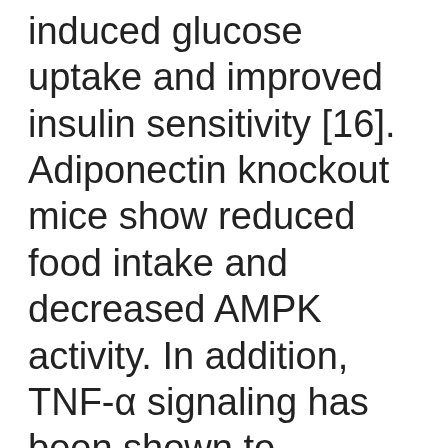induced glucose uptake and improved insulin sensitivity [16]. Adiponectin knockout mice show reduced food intake and decreased AMPK activity. In addition, TNF-α signaling has been shown to suppress skeletal muscle AMPK activity both in vivo and in vitro [17].